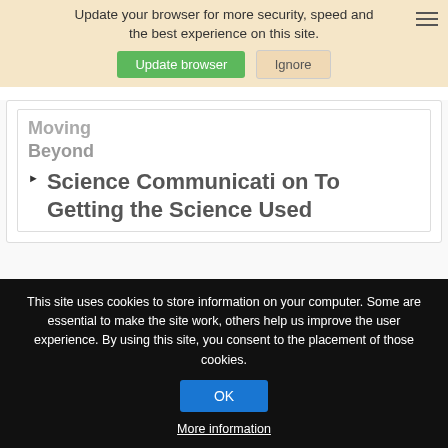Update your browser for more security, speed and the best experience on this site.
Update browser | Ignore
Science Communication To Getting the Science Used
TUESDAY, JULY 21, 2020
Has
This site uses cookies to store information on your computer. Some are essential to make the site work, others help us improve the user experience. By using this site, you consent to the placement of those cookies.
OK
More information